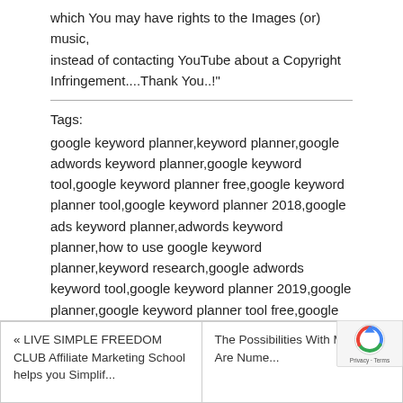which You may have rights to the Images (or) music,
instead of contacting YouTube about a Copyright Infringement....Thank You..!"
Tags:
google keyword planner,keyword planner,google adwords keyword planner,google keyword tool,google keyword planner free,google keyword planner tool,google keyword planner 2018,google ads keyword planner,adwords keyword planner,how to use google keyword planner,keyword research,google adwords keyword tool,google keyword planner 2019,google planner,google keyword planner tool free,google adwords
« LIVE SIMPLE FREEDOM CLUB Affiliate Marketing School helps you Simplify...    The Possibilities With Marketing Are Nume...